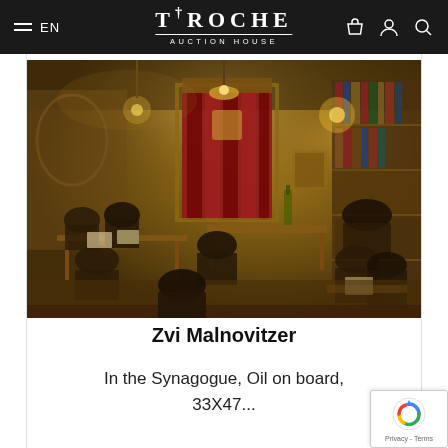TIROCHE AUCTION HOUSE
[Figure (photo): Oil painting depicting a synagogue interior scene with multiple figures reading and studying, a red Torah ark curtain in the background, bookshelves on the right, and warm amber lighting throughout.]
Zvi Malnovitzer
In the Synagogue, Oil on board, 33X47...